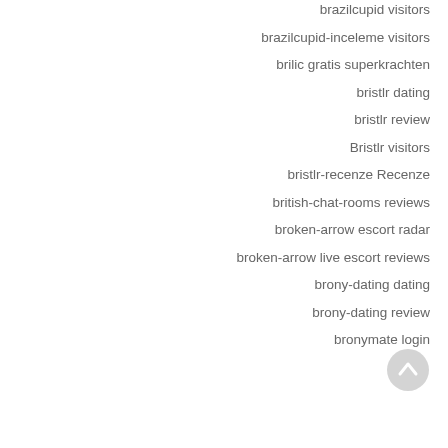brazilcupid visitors
brazilcupid-inceleme visitors
brilic gratis superkrachten
bristlr dating
bristlr review
Bristlr visitors
bristlr-recenze Recenze
british-chat-rooms reviews
broken-arrow escort radar
broken-arrow live escort reviews
brony-dating dating
brony-dating review
bronymate login